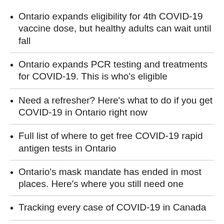Ontario expands eligibility for 4th COVID-19 vaccine dose, but healthy adults can wait until fall
Ontario expands PCR testing and treatments for COVID-19. This is who's eligible
Need a refresher? Here's what to do if you get COVID-19 in Ontario right now
Full list of where to get free COVID-19 rapid antigen tests in Ontario
Ontario's mask mandate has ended in most places. Here's where you still need one
Tracking every case of COVID-19 in Canada